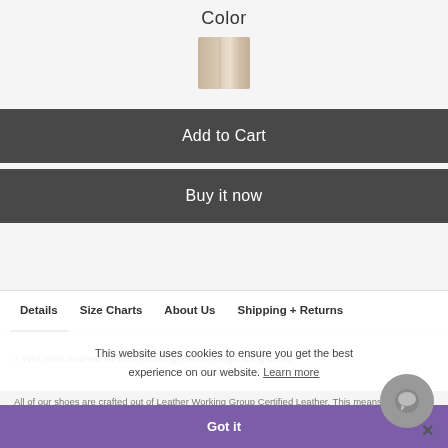Color
[Figure (photo): A small color swatch showing a tan/beige leather texture]
Add to Cart
Buy it now
Details  Size Charts  About Us  Shipping + Returns
A Wild West inspired tall boot featuring classic cowgirl lining detail.
This website uses cookies to ensure you get the best experience on our website. Learn more
All of our shoes are crafted out of Leather Working Group Certified Leather. This means, sustainably sourced leathers, low impact dying thus less